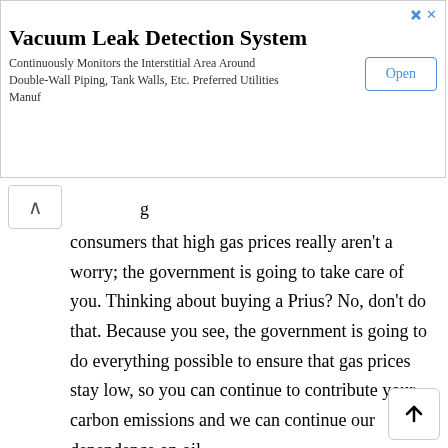[Figure (other): Advertisement banner for Vacuum Leak Detection System with Open button]
consumers that high gas prices really aren't a worry; the government is going to take care of you. Thinking about buying a Prius? No, don't do that. Because you see, the government is going to do everything possible to ensure that gas prices stay low, so you can continue to contribute your carbon emissions and we can continue our dependence on oil.
But that's not really how it is likely to pan out. What will happen is that oil companies will allocate those taxes to their already struggling refining sector (they don't produce all that much oil in the U.S.) Then what